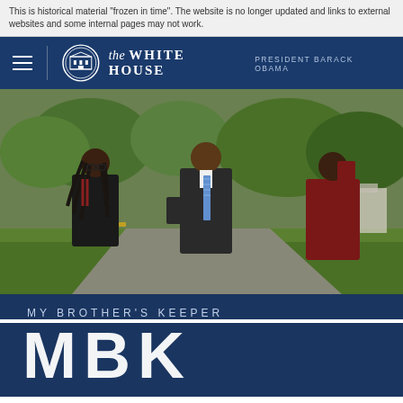This is historical material "frozen in time". The website is no longer updated and links to external websites and some internal pages may not work.
[Figure (screenshot): White House website navigation header with blue background, hamburger menu icon on left, White House seal logo and 'the WHITE HOUSE PRESIDENT BARACK OBAMA' text in center/right]
[Figure (photo): Outdoor photo of young men walking and laughing on the White House grounds, trees and lawn visible in background, one man in a black t-shirt with dreadlocks, another in a dark suit with blue striped tie, another in a dark red/maroon sweater]
MY BROTHER'S KEEPER
MBK